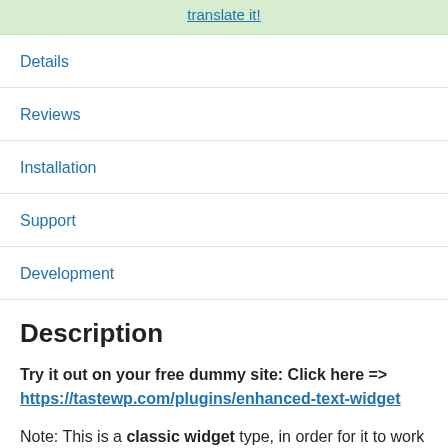translate it!
Details
Reviews
Installation
Support
Development
Description
Try it out on your free dummy site: Click here => https://tastewp.com/plugins/enhanced-text-widget
Note: This is a classic widget type, in order for it to work on the latest version of WordPress you will